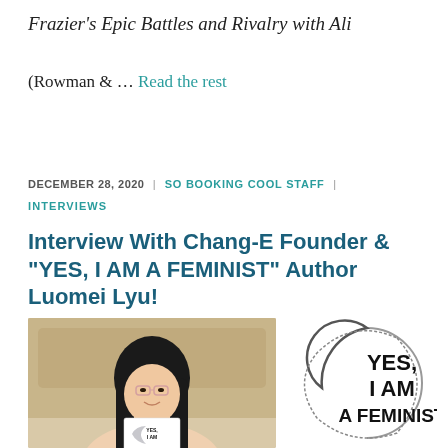Frazier’s Epic Battles and Rivalry with Ali
(Rowman & … Read the rest
DECEMBER 28, 2020 | SO BOOKING COOL STAFF | INTERVIEWS
Interview With Chang-E Founder & “YES, I AM A FEMINIST” Author Luomei Lyu!
[Figure (photo): Photo of Luomei Lyu holding a book titled YES, I AM A FEMINIST, wearing glasses with long dark hair]
[Figure (illustration): Book cover illustration: YES, I AM A FEMINIST with a crescent moon shape in pink/grey]